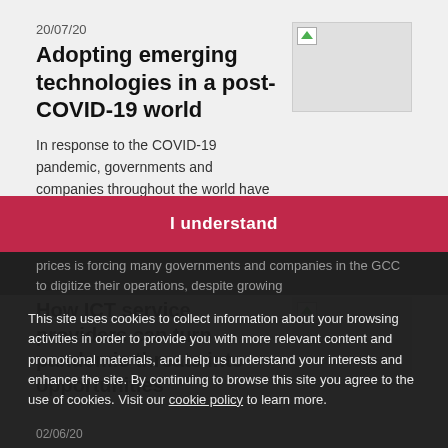20/07/20
Adopting emerging technologies in a post-COVID-19 world
In response to the COVID-19 pandemic, governments and companies throughout the world have been forced to accelerate the adoption of emerging technologies to...
[Figure (photo): Thumbnail image placeholder for first article]
23/06/20
How ICT service providers can turn pandemic threats into opportunities
[Figure (photo): Thumbnail image placeholder for second article]
prices is forcing many governments and companies in the GCC to digitize their operations, despite growing
I understand
This site uses cookies to collect information about your browsing activities in order to provide you with more relevant content and promotional materials, and help us understand your interests and enhance the site. By continuing to browse this site you agree to the use of cookies. Visit our cookie policy to learn more.
02/06/20